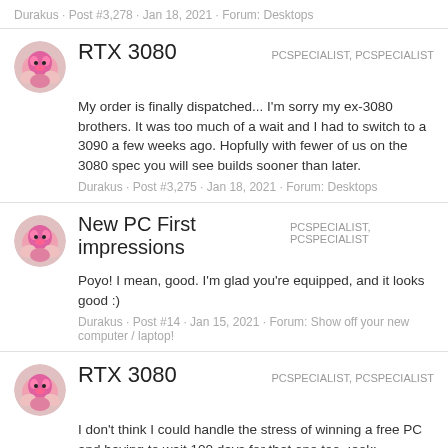Durakus · Post #3,278 · Jan 18, 2021 · Forum: Desktops
RTX 3080
PCSPECIALIST, PCSPECIALIST
My order is finally dispatched... I'm sorry my ex-3080 brothers. It was too much of a wait and I had to switch to a 3090 a few weeks ago. Hopfully with fewer of us on the 3080 spec you will see builds sooner than later.
Durakus · Post #3,275 · Jan 18, 2021 · Forum: Desktops
New PC First impressions
PCSPECIALIST, PCSPECIALIST
Poyo! I mean, good. I'm glad you're equipped, and it looks good :)
Durakus · Post #14 · Jan 15, 2021 · Forum: Show off your new computer / laptop!
RTX 3080
PCSPECIALIST, PCSPECIALIST
I don't think I could handle the stress of winning a free PC and having to wait 100 days for that one too. :eek:
Durakus · Post #3,160 · Jan 14, 2021 · Forum: Desktops